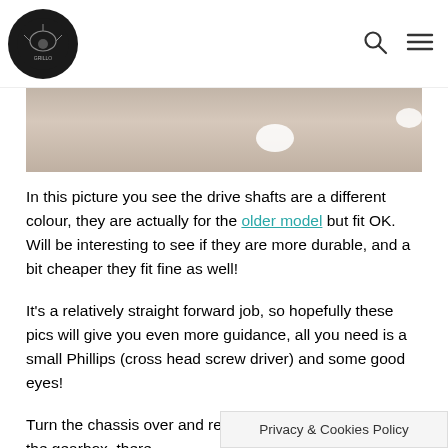Logo and navigation icons (search, menu)
[Figure (photo): Close-up photo of drive shafts with sandy/beige background, showing white round highlights]
In this picture you see the drive shafts are a different colour, they are actually for the older model but fit OK. Will be interesting to see if they are more durable, and a bit cheaper they fit fine as well!
It's a relatively straight forward job, so hopefully these pics will give you even more guidance, all you need is a small Phillips (cross head screw driver) and some good eyes!
Turn the chassis over and remove the screws holding in the gearbox, there are four of them
Privacy & Cookies Policy